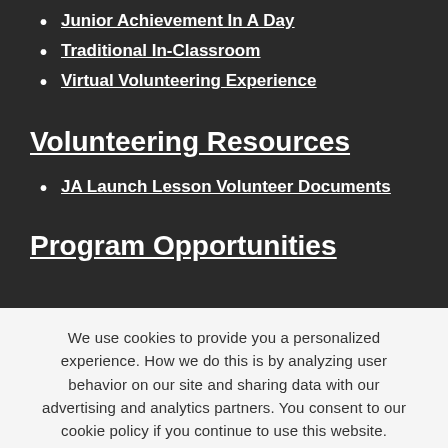Junior Achievement In A Day
Traditional In-Classroom
Virtual Volunteering Experience
Volunteering Resources
JA Launch Lesson Volunteer Documents
Program Opportunities
We use cookies to provide you a personalized experience. How we do this is by analyzing user behavior on our site and sharing data with our advertising and analytics partners. You consent to our cookie policy if you continue to use this website.
I UNDERSTAND